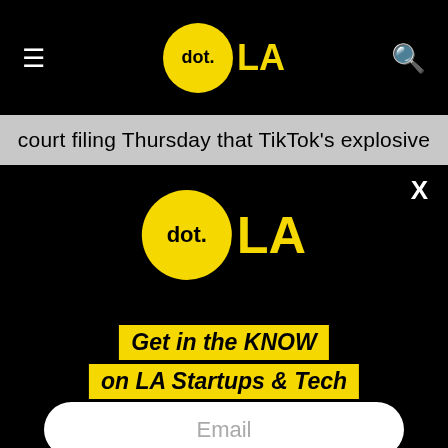[Figure (logo): dot.LA logo in navigation bar — yellow circle with 'dot.' text and yellow 'LA' text beside it]
court filing Thursday that TikTok's explosive
X
[Figure (logo): dot.LA logo in modal overlay — larger yellow circle with 'dot.' and yellow 'LA' text]
Get in the KNOW on LA Startups & Tech
Email